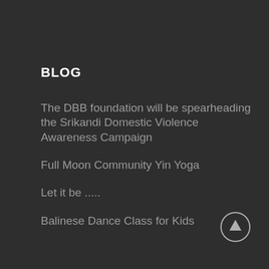BLOG
The DBB foundation will be spearheading the Srikandi Domestic Violence Awareness Campaign
Full Moon Community Yin Yoga
Let it be .....
Balinese Dance Class for Kids
[Figure (illustration): Circular up-arrow button (scroll to top) with grey border and upward arrow icon]